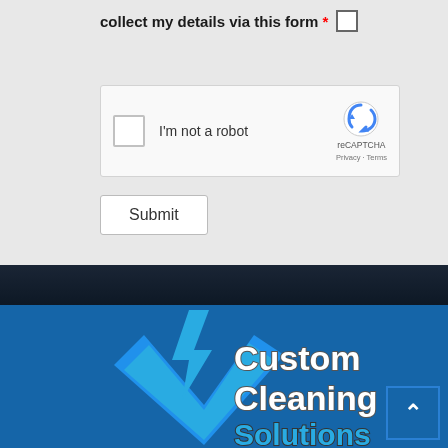collect my details via this form *
[Figure (screenshot): reCAPTCHA widget with checkbox labeled 'I'm not a robot' and Google reCAPTCHA logo with Privacy and Terms links]
Submit
[Figure (logo): Custom Cleaning Solutions logo with blue checkmark on dark blue background]